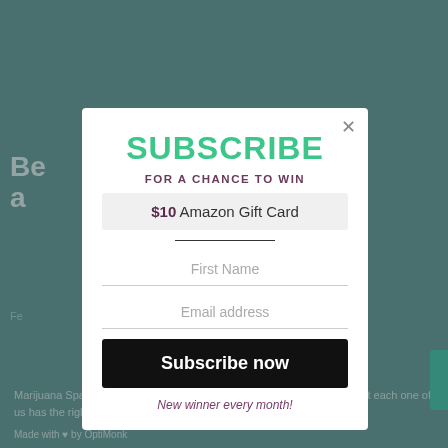[Figure (screenshot): Dark teal blurred webpage background showing partial article heading and footer text about Marijuana Span community]
SUBSCRIBE
FOR A CHANCE TO WIN
$10 Amazon Gift Card
First Name
Email address
Subscribe now
New winner every month!
Made with ♥ by OptiMonk